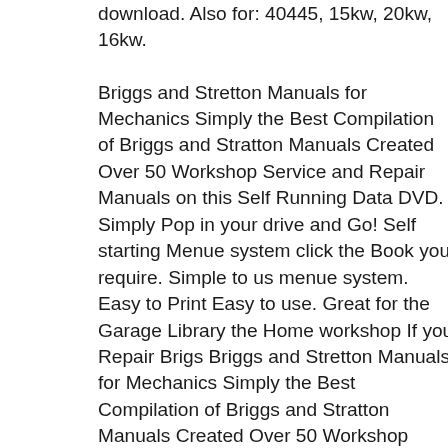download. Also for: 40445, 15kw, 20kw, 16kw.

Briggs and Stretton Manuals for Mechanics Simply the Best Compilation of Briggs and Stratton Manuals Created Over 50 Workshop Service and Repair Manuals on this Self Running Data DVD. Simply Pop in your drive and Go! Self starting Menue system click the Book you require. Simple to us menue system. Easy to Print Easy to use. Great for the Garage Library the Home workshop If you Repair Brigs Briggs and Stretton Manuals for Mechanics Simply the Best Compilation of Briggs and Stratton Manuals Created Over 50 Workshop Service and Repair Manuals